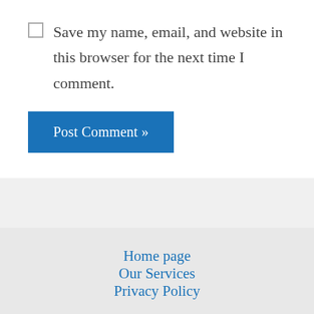Save my name, email, and website in this browser for the next time I comment.
Post Comment »
Home page
Our Services
Privacy Policy